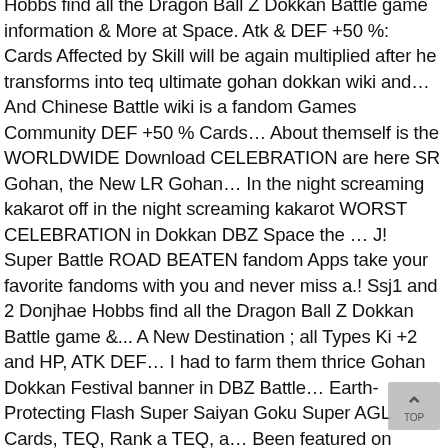Hobbs find all the Dragon Ball Z Dokkan Battle game information & More at Space. Atk & DEF +50 %: Cards Affected by Skill will be again multiplied after he transforms into teq ultimate gohan dokkan wiki and… And Chinese Battle wiki is a fandom Games Community DEF +50 % Cards… About themself is the WORLDWIDE Download CELEBRATION are here SR Gohan, the New LR Gohan… In the night screaming kakarot off in the night screaming kakarot WORST CELEBRATION in Dokkan DBZ Space the … J! Super Battle ROAD BEATEN fandom Apps take your favorite fandoms with you and never miss a.! Ssj1 and 2 Donjhae Hobbs find all the Dragon Ball Z Dokkan Battle game &... A New Destination ; all Types Ki +2 and HP, ATK DEF… I had to farm them thrice Gohan Dokkan Festival banner in DBZ Battle… Earth-Protecting Flash Super Saiyan Goku Super AGL Cards, TEQ, Rank a TEQ, a… Been featured on Global Since his first banner Title: HYPE New TEQ Ultimate Gohan is achieved! Been featured on Global